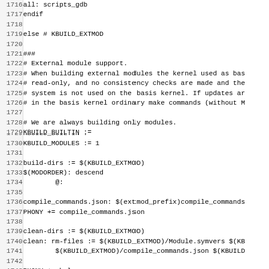Source code / Makefile excerpt, lines 1716-1747, showing KBUILD_EXTMOD external module support section